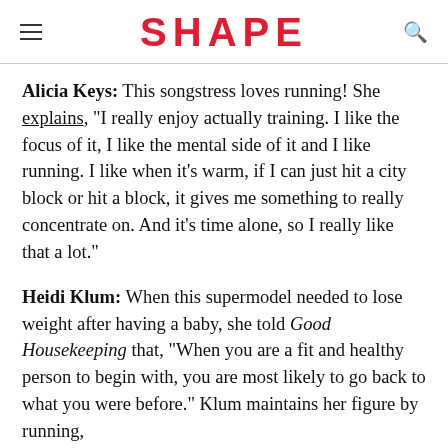SHAPE
Alicia Keys: This songstress loves running! She explains, "I really enjoy actually training. I like the focus of it, I like the mental side of it and I like running. I like when it's warm, if I can just hit a city block or hit a block, it gives me something to really concentrate on. And it's time alone, so I really like that a lot."
Heidi Klum: When this supermodel needed to lose weight after having a baby, she told Good Housekeeping that, "When you are a fit and healthy person to begin with, you are most likely to go back to what you were before." Klum maintains her figure by running,